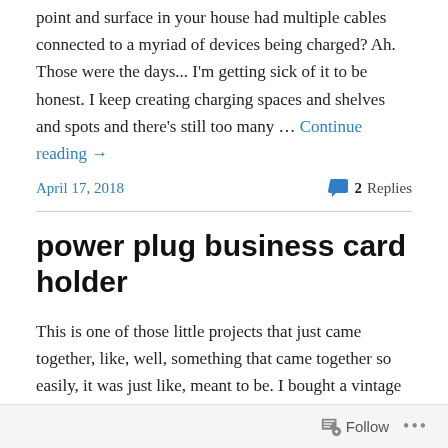point and surface in your house had multiple cables connected to a myriad of devices being charged? Ah. Those were the days... I'm getting sick of it to be honest. I keep creating charging spaces and shelves and spots and there's still too many … Continue reading →
April 17, 2018
2 Replies
power plug business card holder
This is one of those little projects that just came together, like, well, something that came together so easily, it was just like, meant to be. I bought a vintage iron off a lady on